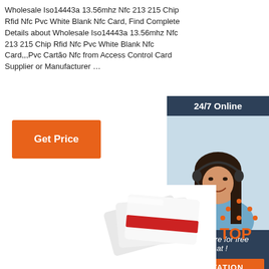Wholesale Iso14443a 13.56mhz Nfc 213 215 Chip Rfid Nfc Pvc White Blank Nfc Card, Find Complete Details about Wholesale Iso14443a 13.56mhz Nfc 213 215 Chip Rfid Nfc Pvc White Blank Nfc Card,,,Pvc Cartão Nfc from Access Control Card Supplier or Manufacturer …
[Figure (other): Orange 'Get Price' button]
[Figure (other): Right sidebar with '24/7 Online' header, photo of woman with headset, 'Click here for free chat!' text, and orange QUOTATION button]
[Figure (photo): NFC white blank cards fanned out, partially visible at bottom of page]
[Figure (logo): Orange 'TOP' logo with dots above letters in triangular arrangement]